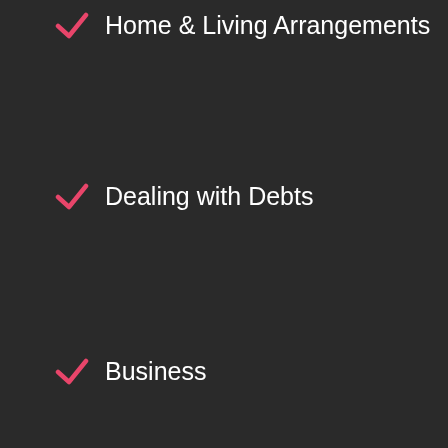Home & Living Arrangements
Dealing with Debts
Business
Pensions
Private School Fees
Cars
H…